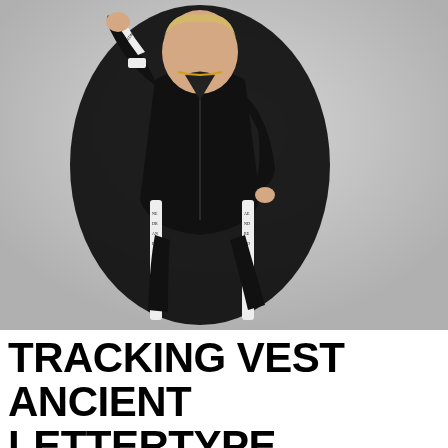[Figure (photo): A person wearing a black tracksuit with white patterned side stripes featuring ancient lettertype/gothic script. The person is posing dynamically against a light grey background, wearing the matching jacket and jogger pants set.]
TRACKING VEST ANCIENT LETTERTYPE